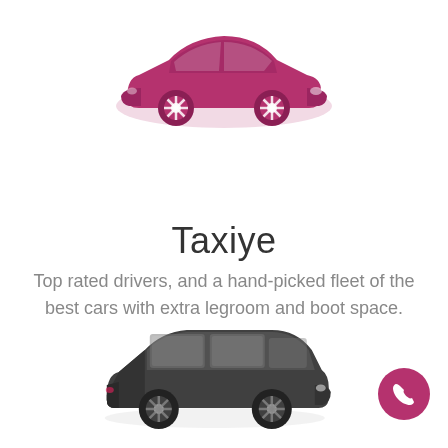[Figure (illustration): Pink/magenta sedan car icon viewed from the side]
Taxiye
Top rated drivers, and a hand-picked fleet of the best cars with extra legroom and boot space.
[Figure (illustration): Dark grey/charcoal minivan/MPV car icon viewed from the side]
[Figure (illustration): Magenta circular phone/call button icon in bottom right corner]